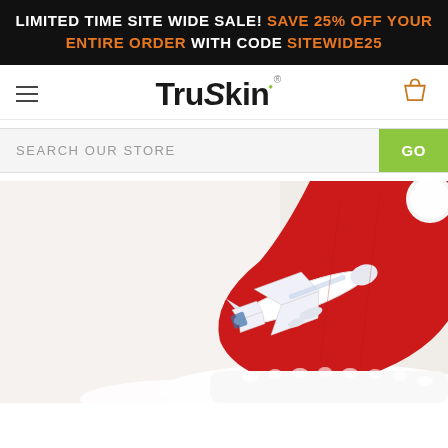LIMITED TIME SITE WIDE SALE! SAVE 25% OFF YOUR ENTIRE ORDER WITH CODE SITEWIDE25
TruSkin®
SEARCH OUR STORE
[Figure (photo): A white toy airplane resting on a red Christmas Santa hat with white fur trim, on a pale background. Holiday travel themed photo.]